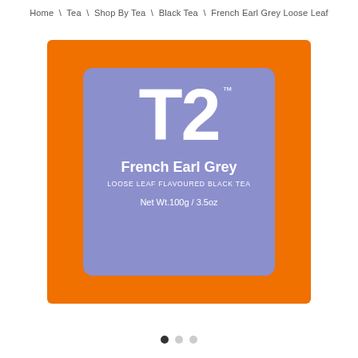Home \ Tea \ Shop By Tea \ Black Tea \ French Earl Grey Loose Leaf
[Figure (photo): T2 Tea product box - orange square tin with purple label showing T2 logo, French Earl Grey product name, LOOSE LEAF FLAVOURED BLACK TEA subtitle, and Net Wt.100g / 3.5oz]
● ● ●